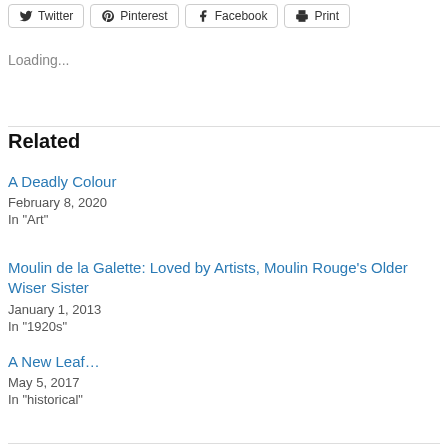[Figure (other): Social sharing buttons: Twitter, Pinterest, Facebook, Print]
Loading...
Related
A Deadly Colour
February 8, 2020
In "Art"
Moulin de la Galette: Loved by Artists, Moulin Rouge's Older Wiser Sister
January 1, 2013
In "1920s"
A New Leaf…
May 5, 2017
In "historical"